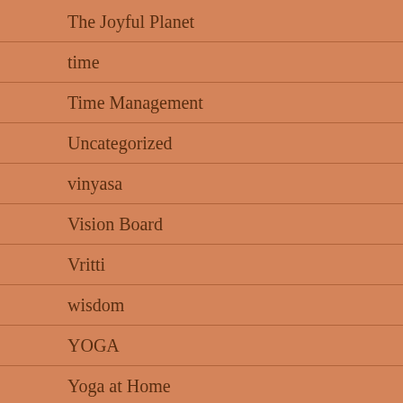The Joyful Planet
time
Time Management
Uncategorized
vinyasa
Vision Board
Vritti
wisdom
YOGA
Yoga at Home
Yoga Philosophy